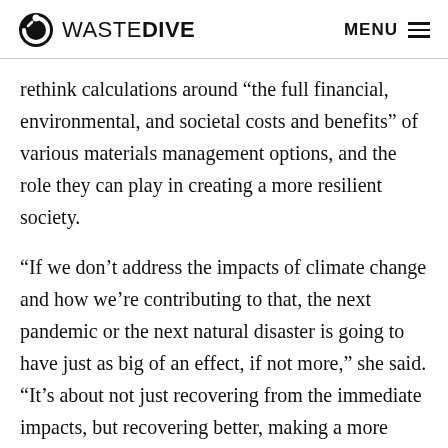WASTE DIVE  MENU
rethink calculations around “the full financial, environmental, and societal costs and benefits” of various materials management options, and the role they can play in creating a more resilient society.
“If we don’t address the impacts of climate change and how we’re contributing to that, the next pandemic or the next natural disaster is going to have just as big of an effect, if not more,” she said. “It’s about not just recovering from the immediate impacts, but recovering better, making a more sustainable and more resilient recovery. So that we can build back better than we were before.”